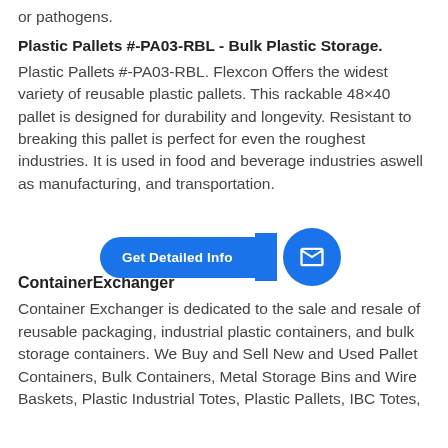or pathogens.
Plastic Pallets #-PA03-RBL - Bulk Plastic Storage.
Plastic Pallets #-PA03-RBL. Flexcon Offers the widest variety of reusable plastic pallets. This rackable 48×40 pallet is designed for durability and longevity. Resistant to breaking this pallet is perfect for even the roughest industries. It is used in food and beverage industries aswell as manufacturing, and transportation.
[Figure (other): Blue pill-shaped button labeled 'Get Detailed Info' with an arrow pointing to a blue circle containing a mail/envelope icon]
ContainerExchanger
Container Exchanger is dedicated to the sale and resale of reusable packaging, industrial plastic containers, and bulk storage containers. We Buy and Sell New and Used Pallet Containers, Bulk Containers, Metal Storage Bins and Wire Baskets, Plastic Industrial Totes, Plastic Pallets, IBC Totes,